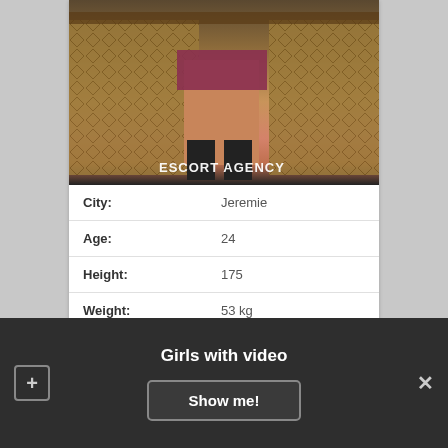[Figure (photo): A person standing in a short skirt and black boots in front of an ornate wooden cabinet with carved patterns. A watermark reads ESCORT AGENCY.]
| Field | Value |
| --- | --- |
| City: | Jeremie |
| Age: | 24 |
| Height: | 175 |
| Weight: | 53 kg |
| Availability: | 10:00 – 23:00 |
Girls with video
Show me!